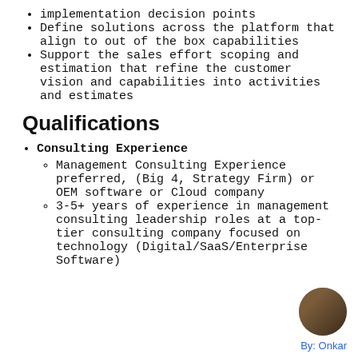implementation decision points
Define solutions across the platform that align to out of the box capabilities
Support the sales effort scoping and estimation that refine the customer vision and capabilities into activities and estimates
Qualifications
Consulting Experience
Management Consulting Experience preferred, (Big 4, Strategy Firm) or OEM software or Cloud company
3-5+ years of experience in management consulting leadership roles at a top-tier consulting company focused on technology (Digital/SaaS/Enterprise Software)
By: Onkar